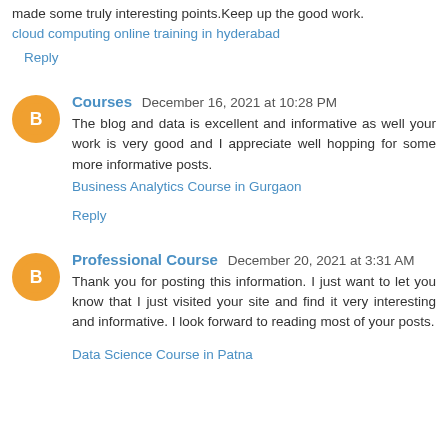made some truly interesting points.Keep up the good work.
cloud computing online training in hyderabad
Reply
Courses  December 16, 2021 at 10:28 PM
The blog and data is excellent and informative as well your work is very good and I appreciate well hopping for some more informative posts.
Business Analytics Course in Gurgaon
Reply
Professional Course  December 20, 2021 at 3:31 AM
Thank you for posting this information. I just want to let you know that I just visited your site and find it very interesting and informative. I look forward to reading most of your posts.
Data Science Course in Patna